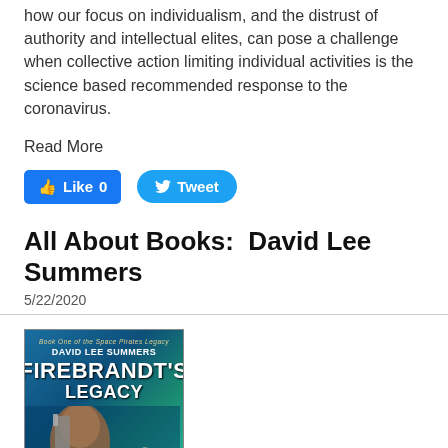how our focus on individualism, and the distrust of authority and intellectual elites, can pose a challenge when collective action limiting individual activities is the science based recommended response to the coronavirus.
Read More
[Figure (other): Facebook Like button showing count 0 and Twitter Tweet button]
All About Books:  David Lee Summers
5/22/2020
[Figure (illustration): Book cover for Firebrandt's Legacy by David Lee Summers, Book One of the Space Pirates Legacy series. Shows science fiction artwork with a robotic figure and a person with brown hair against a blue starry background.]